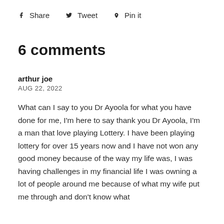f Share   🐦 Tweet   📌 Pin it
6 comments
arthur joe
AUG 22, 2022
What can I say to you Dr Ayoola for what you have done for me, I'm here to say thank you Dr Ayoola, I'm a man that love playing Lottery. I have been playing lottery for over 15 years now and I have not won any good money because of the way my life was, I was having challenges in my financial life I was owning a lot of people around me because of what my wife put me through and don't know what